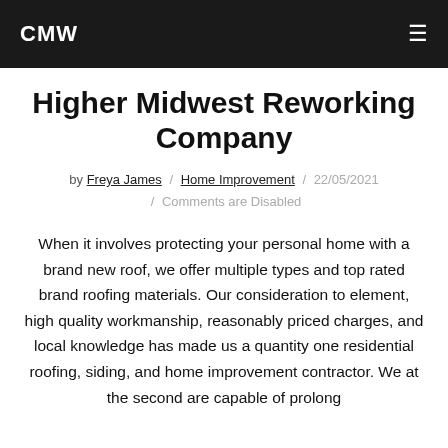CMW
Higher Midwest Reworking Company
by Freya James / Home Improvement / 22/05/2021 / Comments are Disabled
When it involves protecting your personal home with a brand new roof, we offer multiple types and top rated brand roofing materials. Our consideration to element, high quality workmanship, reasonably priced charges, and local knowledge has made us a quantity one residential roofing, siding, and home improvement contractor. We at the second are capable of prolong the higher quality of our investments and are able to...